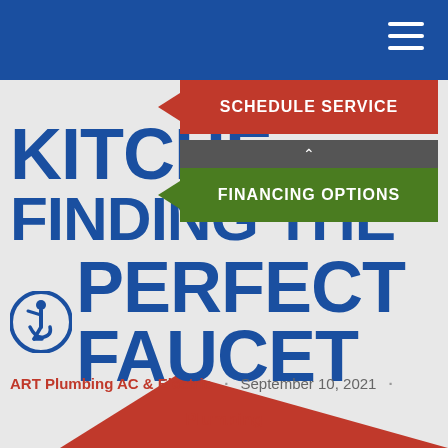Navigation bar with hamburger menu
[Figure (screenshot): Dropdown navigation menu with Schedule Service (red) and Financing Options (green) buttons with arrow chevrons on left side]
KITCHEN FAUCETS: FINDING THE PERFECT FAUCET
[Figure (illustration): Accessibility icon - person in wheelchair in blue circle]
ART Plumbing AC & Electric · September 10, 2021 · Plumbing